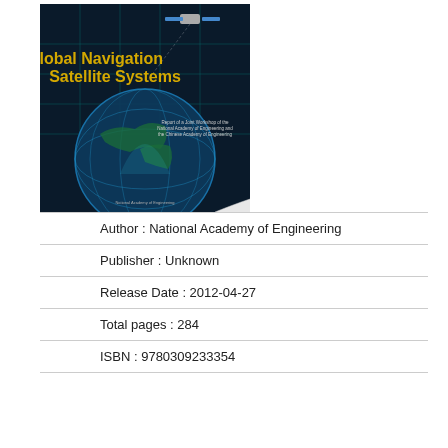[Figure (illustration): Book cover of 'Global Navigation Satellite Systems' showing a satellite in space, a globe with grid overlay, and teal/green digital background patterns. Title text in yellow/gold and white. Subtitle text about National Academy of Engineering and Chinese Academy of Engineering joint workshop report.]
Author : National Academy of Engineering
Publisher : Unknown
Release Date : 2012-04-27
Total pages : 284
ISBN : 9780309233354